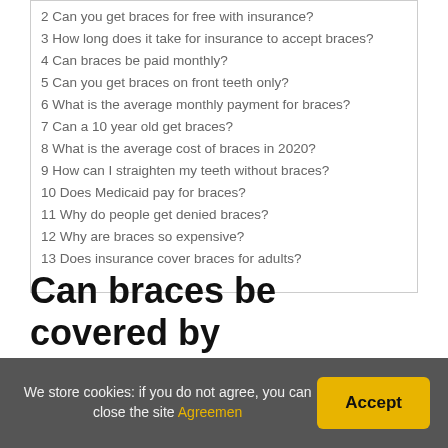2 Can you get braces for free with insurance?
3 How long does it take for insurance to accept braces?
4 Can braces be paid monthly?
5 Can you get braces on front teeth only?
6 What is the average monthly payment for braces?
7 Can a 10 year old get braces?
8 What is the average cost of braces in 2020?
9 How can I straighten my teeth without braces?
10 Does Medicaid pay for braces?
11 Why do people get denied braces?
12 Why are braces so expensive?
13 Does insurance cover braces for adults?
Can braces be covered by
We store cookies: if you do not agree, you can close the site Agreemen